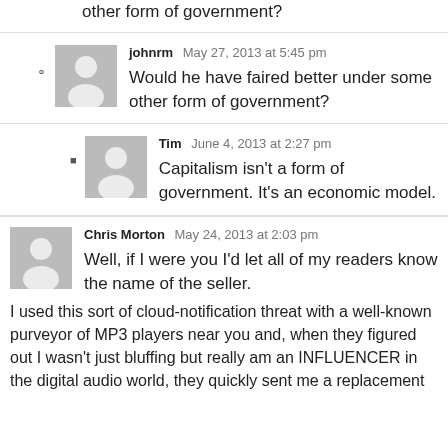other form of government?
johnrm  May 27, 2013 at 5:45 pm
Would he have faired better under some other form of government?
Tim  June 4, 2013 at 2:27 pm
Capitalism isn't a form of government. It's an economic model.
Chris Morton  May 24, 2013 at 2:03 pm
Well, if I were you I'd let all of my readers know the name of the seller.
I used this sort of cloud-notification threat with a well-known purveyor of MP3 players near you and, when they figured out I wasn't just bluffing but really am an INFLUENCER in the digital audio world, they quickly sent me a replacement